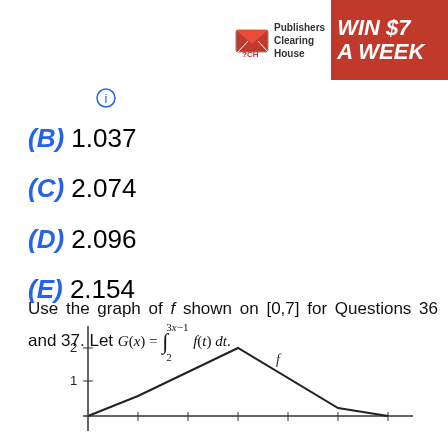[Figure (other): Publishers Clearing House advertisement banner: PCH logo with envelope icon, text 'Publishers Clearing House', and 'WIN $7 A WEEK' in bold white on red background]
(B) 1.037
(C) 2.074
(D) 2.096
(E) 2.154
Use the graph of f shown on [0,7] for Questions 36 and 37. Let G(x) = integral from 2 to 3x-1 of f(t) dt.
[Figure (continuous-plot): Partial graph of function f on axes, showing a piecewise linear function. Y-axis labels 1 and 2 visible. X-axis visible. The graph shows an increasing then decreasing line forming a peak, with label f near the curve.]